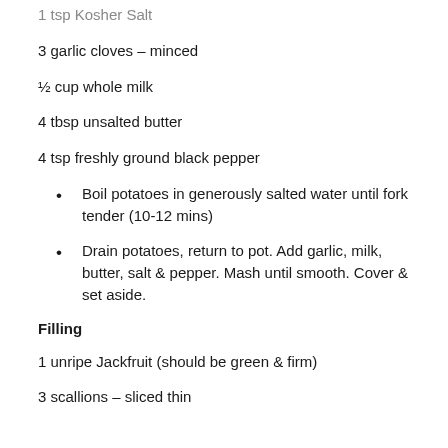1 tsp Kosher Salt
3 garlic cloves – minced
½ cup whole milk
4 tbsp unsalted butter
4 tsp freshly ground black pepper
Boil potatoes in generously salted water until fork tender (10-12 mins)
Drain potatoes, return to pot. Add garlic, milk, butter, salt & pepper. Mash until smooth. Cover & set aside.
Filling
1 unripe Jackfruit (should be green & firm)
3 scallions – sliced thin